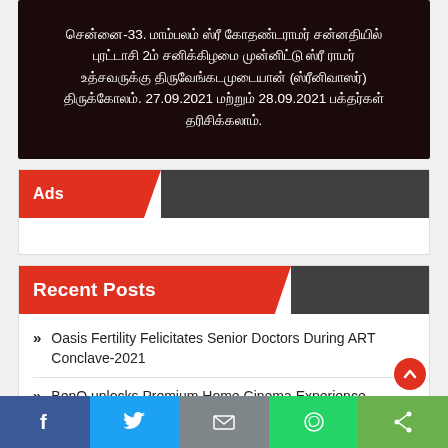சென்னை-33. மாம்பலம் ஸ்ரீ கோதண்டராமர் சன்னதியில் புரட்டாசி 2ம் சனிக்கிழமை முன்னிட்டு ஸ்ரீ ராமர் உத்சவருக்கு திருவேங்கடமுடையான் (ஸ்ரீனிவாஸர்) திருக்கோலம். 27.09.2021 மற்றும் 28.09.2021 பக்தர்கள் தரிசிக்கலாம்.
Ads
Recent Posts
Oasis Fertility Felicitates Senior Doctors During ART Conclave-2021
BenQ unlocks Premium Home Cinema Experience, Launches V7050i – 4K Laser TV Projector
Veranda acquires Edureka for Rs.245 crores